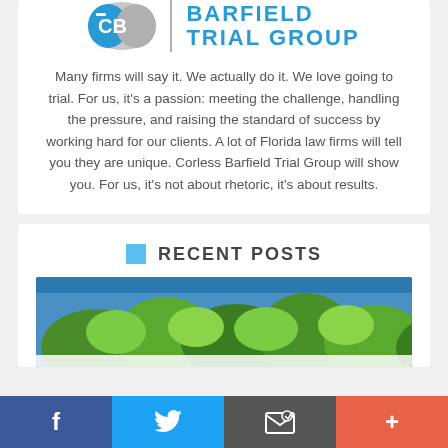[Figure (logo): Corless Barfield Trial Group logo with stylized CB icon and text]
Many firms will say it. We actually do it. We love going to trial. For us, it's a passion: meeting the challenge, handling the pressure, and raising the standard of success by working hard for our clients. A lot of Florida law firms will tell you they are unique. Corless Barfield Trial Group will show you. For us, it's not about rhetoric, it's about results.
RECENT POSTS
[Figure (photo): Outdoor scene with green trees and blue sky, partial view of a building or post image thumbnail]